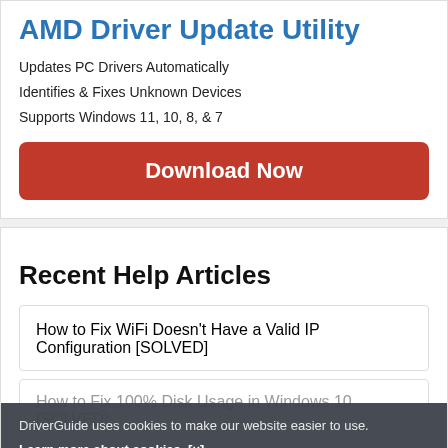AMD Driver Update Utility
Updates PC Drivers Automatically
Identifies & Fixes Unknown Devices
Supports Windows 11, 10, 8, & 7
Download Now
Recent Help Articles
How to Fix WiFi Doesn't Have a Valid IP Configuration [SOLVED]
DriverGuide uses cookies to make our website easier to use.
Learn more about cookies.  [x]
How to Fix 100% Disk Usage in Windows 10 [SOLVED]